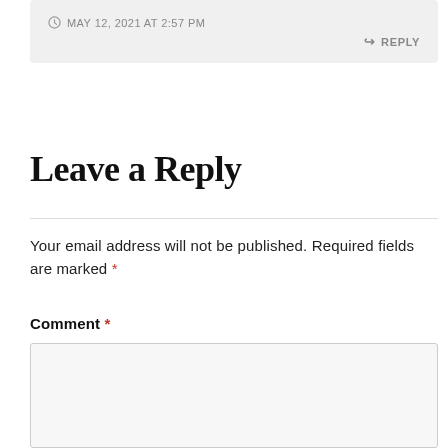MAY 12, 2021 AT 2:57 PM
REPLY
Leave a Reply
Your email address will not be published. Required fields are marked *
Comment *